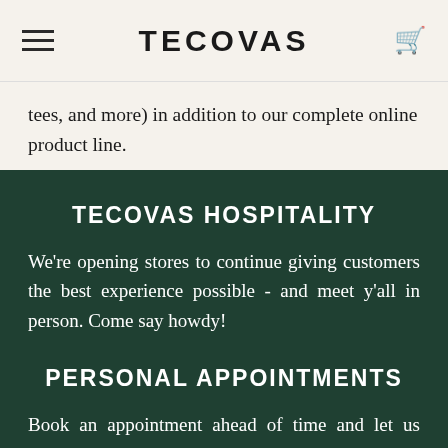TECOVAS
tees, and more) in addition to our complete online product line.
TECOVAS HOSPITALITY
We're opening stores to continue giving customers the best experience possible - and meet y'all in person. Come say howdy!
PERSONAL APPOINTMENTS
Book an appointment ahead of time and let us know exactly what you're interested in. We'll have